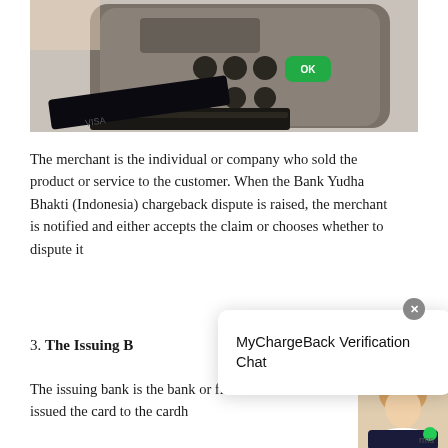[Figure (photo): Close-up photo of a card payment terminal/POS device with black keys and a green OK button, with a dark card inserted at the bottom]
The merchant is the individual or company who sold the product or service to the customer. When the Bank Yudha Bhakti (Indonesia) chargeback dispute is raised, the merchant is notified and either accepts the claim or chooses whether to dispute it
3. The Issuing B
The issuing bank is the bank or financial institution that issued the card to the cardh